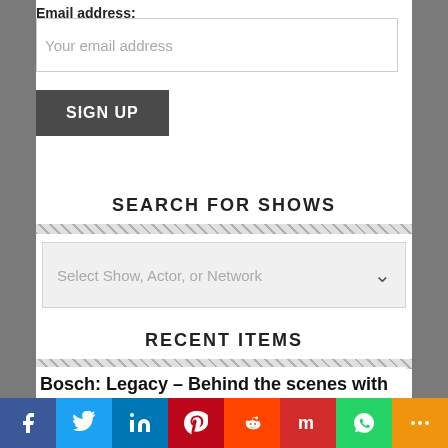Email address:
Your email address
SIGN UP
SEARCH FOR SHOWS
Select Show, Actor, or Network
RECENT ITEMS
Bosch: Legacy – Behind the scenes with Mitzi Roberts and Tim Marcia
[Figure (infographic): Social share bar with icons for Facebook, Twitter, LinkedIn, Pinterest, Reddit, Mix, WhatsApp, and More]